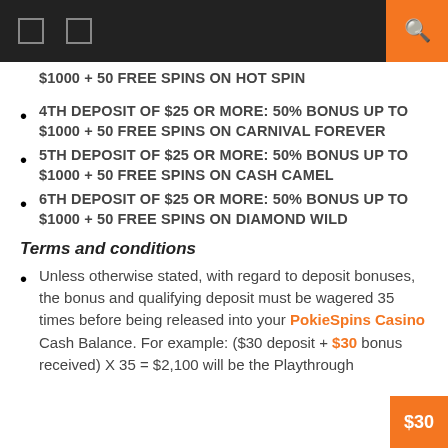navigation header with icons and search button
$1000 + 50 FREE SPINS ON HOT SPIN
4TH DEPOSIT OF $25 OR MORE: 50% BONUS UP TO $1000 + 50 FREE SPINS ON CARNIVAL FOREVER
5TH DEPOSIT OF $25 OR MORE: 50% BONUS UP TO $1000 + 50 FREE SPINS ON CASH CAMEL
6TH DEPOSIT OF $25 OR MORE: 50% BONUS UP TO $1000 + 50 FREE SPINS ON DIAMOND WILD
Terms and conditions
Unless otherwise stated, with regard to deposit bonuses, the bonus and qualifying deposit must be wagered 35 times before being released into your PokieSpins Casino Cash Balance. For example: ($30 deposit + $30 bonus received) X 35 = $2,100 will be the Playthrough